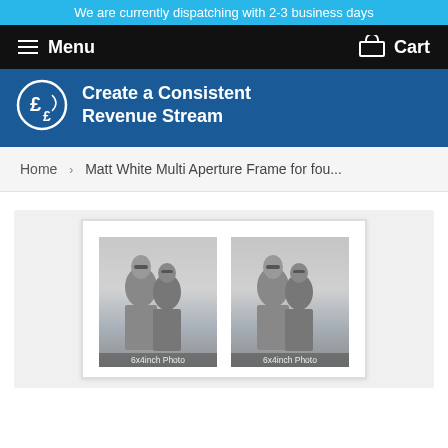We are currently dispatching with 2-3 business days
Menu  Cart
Create a Consistent Revenue Stream
Home › Matt White Multi Aperture Frame for fou...
[Figure (photo): Product page showing a matt white multi aperture picture frame containing two 6x4inch photo slots, each with a black and white photo of two people at a beach]